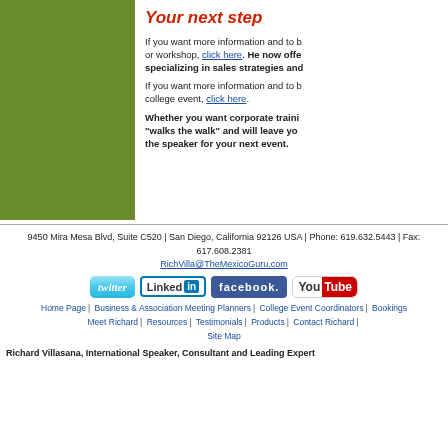[Figure (photo): Green/olive colored rectangular image placeholder on the left side]
Your next step
If you want more information and to book a speaking engagement or workshop, click here. He now offers online courses specializing in sales strategies and...
If you want more information and to book a speaking engagement for a college event, click here.
Whether you want corporate training or a keynote speaker who "walks the walk" and will leave you inspired, Richard Villasana is the speaker for your next event.
9450 Mira Mesa Blvd, Suite C520 | San Diego, California 92126 USA | Phone: 619.632.5443 | Fax: 617.608.2381
RichVilla@TheMexicoGuru.com
[Figure (logo): Social media icons: Twitter, LinkedIn, Facebook, YouTube]
Home Page | Business & Association Meeting Planners | College Event Coordinators | Bookings
Meet Richard | Resources | Testimonials | Products | Contact Richard | Site Map
Richard Villasana, International Speaker, Consultant and Leading Expert